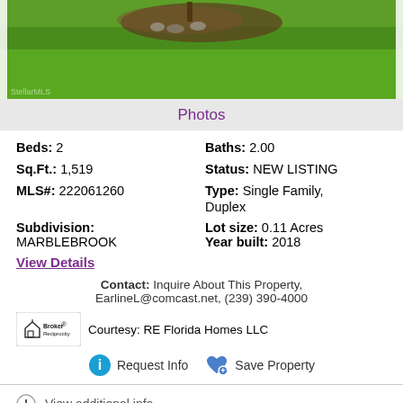[Figure (photo): Exterior photo of property showing green grass lawn with landscaping and rock border, partially cropped.]
Photos
Beds: 2   Baths: 2.00
Sq.Ft.: 1,519   Status: NEW LISTING
MLS#: 222061260   Type: Single Family, Duplex
Subdivision: MARBLEBROOK   Lot size: 0.11 Acres   Year built: 2018
View Details
Contact: Inquire About This Property, EarlineL@comcast.net, (239) 390-4000
Courtesy: RE Florida Homes LLC
Request Info   Save Property
View additional info